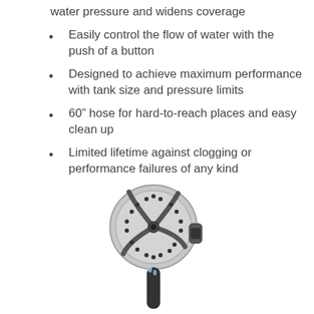water pressure and widens coverage
Easily control the flow of water with the push of a button
Designed to achieve maximum performance with tank size and pressure limits
60″ hose for hard-to-reach places and easy clean up
Limited lifetime against clogging or performance failures of any kind
[Figure (photo): A handheld shower head with brushed nickel finish, multiple spray nozzles visible on the face, and a black handle/button on the side, shown from the front at a slight angle.]